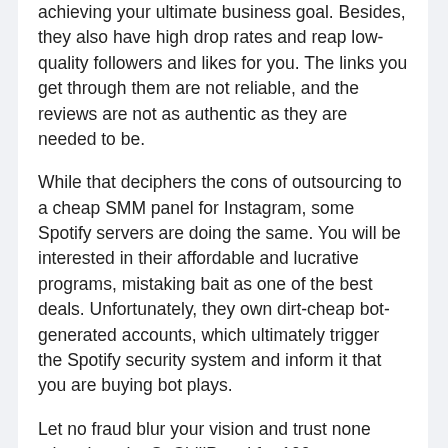achieving your ultimate business goal. Besides, they also have high drop rates and reap low-quality followers and likes for you. The links you get through them are not reliable, and the reviews are not as authentic as they are needed to be.
While that deciphers the cons of outsourcing to a cheap SMM panel for Instagram, some Spotify servers are doing the same. You will be interested in their affordable and lucrative programs, mistaking bait as one of the best deals. Unfortunately, they own dirt-cheap bot-generated accounts, which ultimately trigger the Spotify security system and inform it that you are buying bot plays.
Let no fraud blur your vision and trust none other than the SoChillPanel for 100 percent authentic services. Since you might be wondering what could be expected of our programs, here's the detail.
SoChillPanel is one of its kind social media marketing service provider. Be it to buy Spotify plays or Instagram likes, we are here to aware your target audience what an